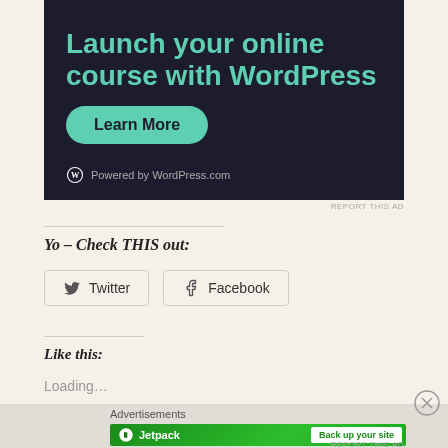[Figure (screenshot): WordPress.com advertisement banner with dark background showing text 'Launch your online course with WordPress', a teal 'Learn More' button, and 'Powered by WordPress.com' at bottom]
REPORT THIS AD
Yo – Check THIS out:
Twitter
Facebook
Like this:
Loading…
Advertisements
[Figure (screenshot): Jetpack advertisement banner with green background, Jetpack logo on left and 'Back up your site' white button on right]
REPORT THIS AD